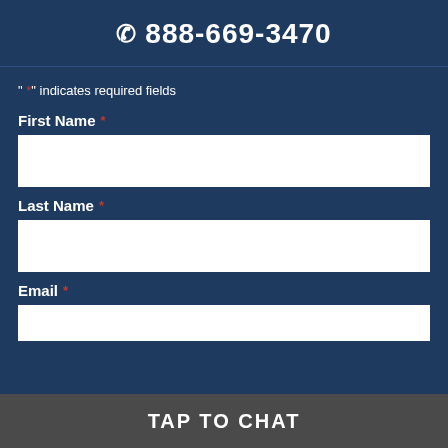📞 888-669-3470
" * " indicates required fields
First Name *
[Figure (other): First Name input text field (empty white box)]
Last Name *
[Figure (other): Last Name input text field (empty white box)]
Email *
[Figure (other): Email input text field (empty white box, partially visible)]
TAP TO CHAT